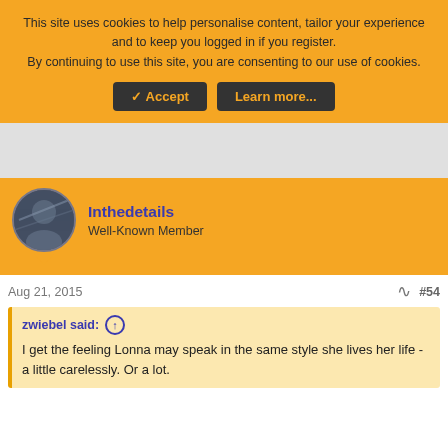This site uses cookies to help personalise content, tailor your experience and to keep you logged in if you register.
By continuing to use this site, you are consenting to our use of cookies.
✓ Accept  Learn more...
[Figure (photo): Gray advertisement area placeholder]
Inthedetails
Well-Known Member
Aug 21, 2015
#54
zwiebel said: ↑
I get the feeling Lonna may speak in the same style she lives her life - a little carelessly. Or a lot.